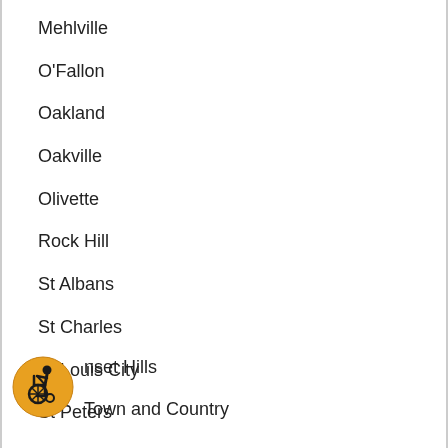Mehlville
O'Fallon
Oakland
Oakville
Olivette
Rock Hill
St Albans
St Charles
St Louis City
St Peters
[Figure (illustration): Accessibility icon: circular yellow/orange badge with wheelchair user symbol in black]
Sunset Hills
Town and Country